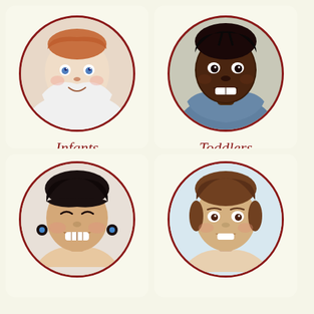[Figure (photo): Circular photo of a baby (infant) with blue eyes wearing a white hoodie, smiling]
Infants
6 Wks - 12 Months
[Figure (photo): Circular photo of a toddler with braids wearing a denim shirt, smiling broadly]
Toddlers
1 - 2 Years
[Figure (photo): Circular photo of a young girl (preschooler) with dark hair and pigtails, laughing with eyes closed]
[Figure (photo): Circular photo of a young boy (pre-kindergartner) with brown hair, smiling]